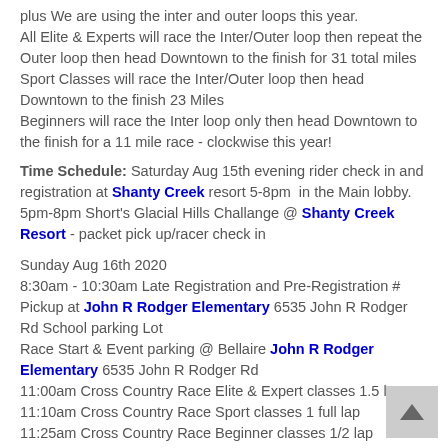plus We are using the inter and outer loops this year. All Elite & Experts will race the Inter/Outer loop then repeat the Outer loop then head Downtown to the finish for 31 total miles Sport Classes will race the Inter/Outer loop then head Downtown to the finish 23 Miles Beginners will race the Inter loop only then head Downtown to the finish for a 11 mile race - clockwise this year!
Time Schedule: Saturday Aug 15th evening rider check in and registration at Shanty Creek resort 5-8pm in the Main lobby. 5pm-8pm Short's Glacial Hills Challange @ Shanty Creek Resort - packet pick up/racer check in
Sunday Aug 16th 2020 8:30am - 10:30am Late Registration and Pre-Registration # Pickup at John R Rodger Elementary 6535 John R Rodger Rd School parking Lot Race Start & Event parking @ Bellaire John R Rodger Elementary 6535 John R Rodger Rd 11:00am Cross Country Race Elite & Expert classes 1.5 laps 11:10am Cross Country Race Sport classes 1 full lap 11:25am Cross Country Race Beginner classes 1/2 lap 2:00pm King Orchards Kids Races - Awards to all